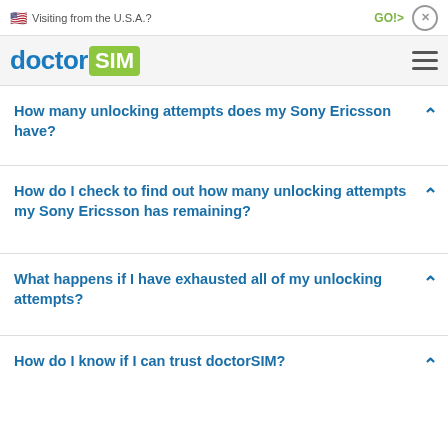🇺🇸 Visiting from the U.S.A.?  GO!>  ×
[Figure (logo): doctorSIM logo with hamburger menu icon]
How many unlocking attempts does my Sony Ericsson have?
How do I check to find out how many unlocking attempts my Sony Ericsson has remaining?
What happens if I have exhausted all of my unlocking attempts?
How do I know if I can trust doctorSIM?